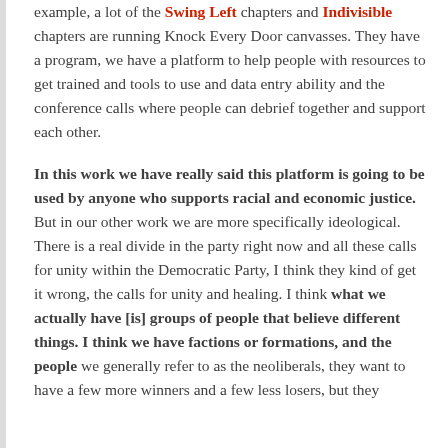example, a lot of the Swing Left chapters and Indivisible chapters are running Knock Every Door canvasses. They have a program, we have a platform to help people with resources to get trained and tools to use and data entry ability and the conference calls where people can debrief together and support each other.

In this work we have really said this platform is going to be used by anyone who supports racial and economic justice. But in our other work we are more specifically ideological. There is a real divide in the party right now and all these calls for unity within the Democratic Party, I think they kind of get it wrong, the calls for unity and healing. I think what we actually have [is] groups of people that believe different things. I think we have factions or formations, and the people we generally refer to as the neoliberals, they want to have a few more winners and a few less losers, but they